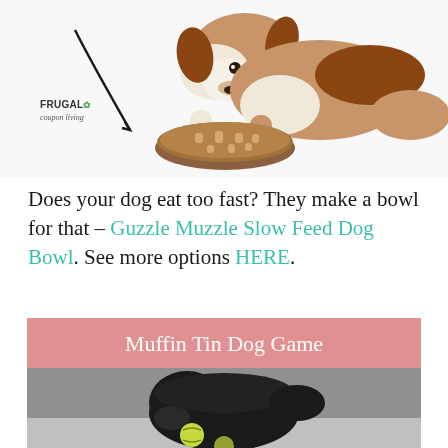[Figure (photo): Dog eating from a slow feed puzzle bowl, with Frugal Coupon Living logo in the lower left corner of the image]
Does your dog eat too fast? They make a bowl for that – Guzzle Muzzle Slow Feed Dog Bowl. See more options HERE.
[Figure (photo): Muffin Tin Dog Game - pink header with white text over a photo of a black curly-haired dog playing with tennis balls on the floor]